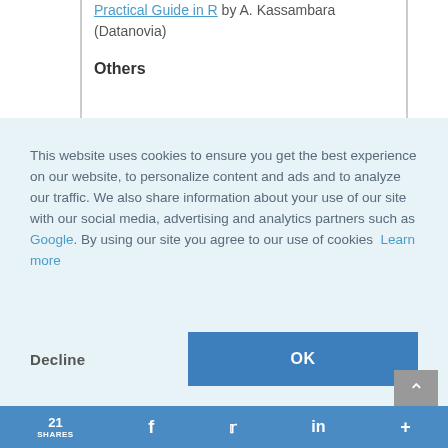Practical Guide in R by A. Kassambara (Datanovia)
Others
This website uses cookies to ensure you get the best experience on our website, to personalize content and ads and to analyze our traffic. We also share information about your use of our site with our social media, advertising and analytics partners such as Google. By using our site you agree to our use of cookies  Learn more
Decline
OK
21 SHARES